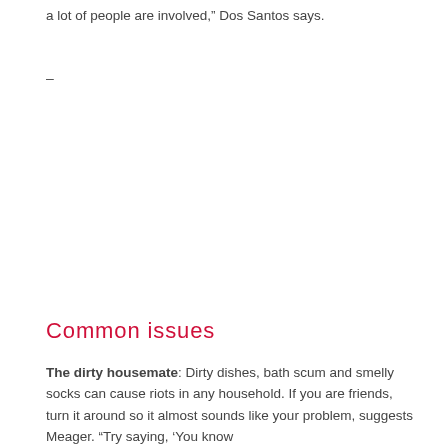a lot of people are involved,” Dos Santos says.
–
Common issues
The dirty housemate: Dirty dishes, bath scum and smelly socks can cause riots in any household. If you are friends, turn it around so it almost sounds like your problem, suggests Meager. “Try saying, ‘You know